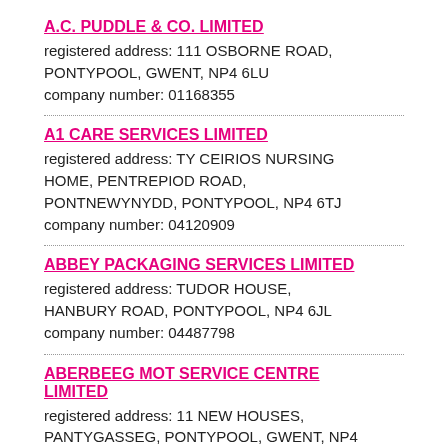A.C. PUDDLE & CO. LIMITED
registered address: 111 OSBORNE ROAD, PONTYPOOL, GWENT, NP4 6LU
company number: 01168355
A1 CARE SERVICES LIMITED
registered address: TY CEIRIOS NURSING HOME, PENTREPIOD ROAD, PONTNEWYNYDD, PONTYPOOL, NP4 6TJ
company number: 04120909
ABBEY PACKAGING SERVICES LIMITED
registered address: TUDOR HOUSE, HANBURY ROAD, PONTYPOOL, NP4 6JL
company number: 04487798
ABERBEEG MOT SERVICE CENTRE LIMITED
registered address: 11 NEW HOUSES, PANTYGASSEG, PONTYPOOL, GWENT, NP4